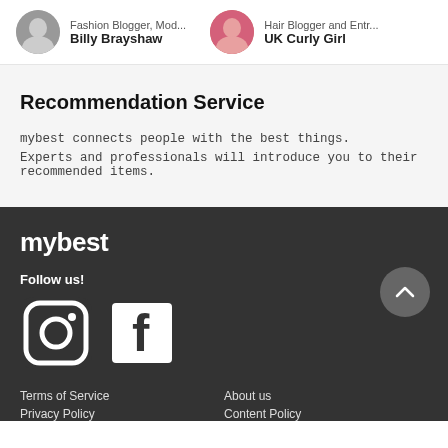Fashion Blogger, Mod... Billy Brayshaw | Hair Blogger and Entr... UK Curly Girl
Recommendation Service
mybest connects people with the best things.
Experts and professionals will introduce you to their recommended items.
[Figure (logo): mybest logo in white text on dark background]
Follow us!
[Figure (illustration): Instagram and Facebook social media icons in white on dark background]
Terms of Service | About us | Privacy Policy | Content Policy